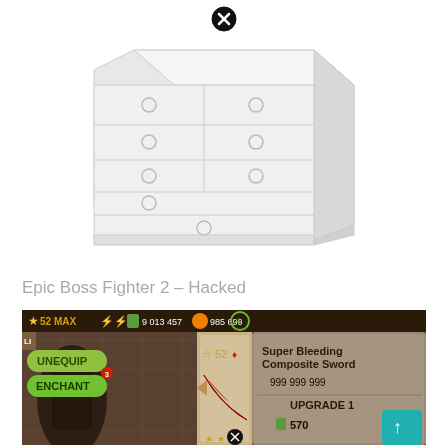[Figure (other): Close button (X in circle) at top center]
[Figure (illustration): White dresser / chest of drawers illustration, perspective view, with circular drawer pulls]
Epic Boss Fighter 2 – Hacked
[Figure (screenshot): Screenshot of Epic Boss Fighter 2 Hacked game showing character stats: Level 52 MAX, 9013457 gems, 985699 coins, UNEQUIP and ENCHANT buttons, Super Bleeding Composite Sword with 999 999 999 damage, UPGRADE 1 cost 570, character level 52 with bleeding enchant]